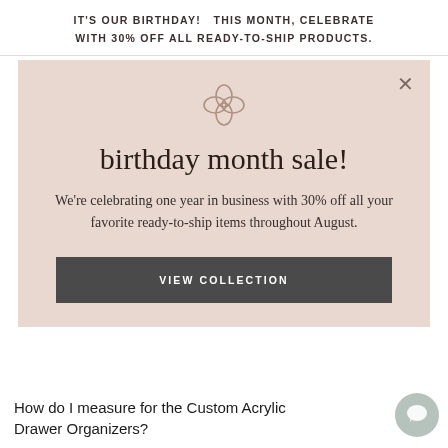IT'S OUR BIRTHDAY!  THIS MONTH, CELEBRATE WITH 30% OFF ALL READY-TO-SHIP PRODUCTS.
birthday month sale!
We're celebrating one year in business with 30% off all your favorite ready-to-ship items throughout August.
VIEW COLLECTION
How do I measure for the Custom Acrylic Drawer Organizers?